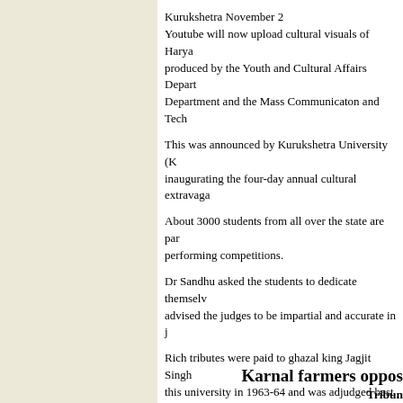Kurukshetra November 2
Youtube will now upload cultural visuals of Harya... produced by the Youth and Cultural Affairs Depart... Department and the Mass Communicaton and Tech...
This was announced by Kurukshetra University (K... inaugurating the four-day annual cultural extravaga...
About 3000 students from all over the state are par... performing competitions.
Dr Sandhu asked the students to dedicate themselv... advised the judges to be impartial and accurate in j...
Rich tributes were paid to ghazal king Jagjit Singh... this university in 1963-64 and was adjudged best i...
Ratnawali.net will be launched during the four-day...
Anoop Lather , Director, Youth and Cultural Affai... Haryanavi chaupal has been introduced this year. O... get rid of their daily woes and generate passion fo...
Karnal farmers oppos...
Tribun...